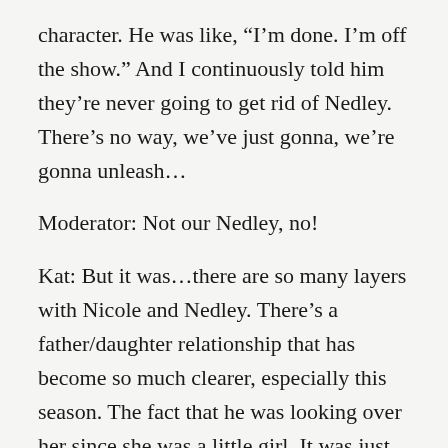character. He was like, “I’m done. I’m off the show.” And I continuously told him they’re never going to get rid of Nedley. There’s no way, we’ve just gonna, we’re gonna unleash…
Moderator: Not our Nedley, no!
Kat: But it was…there are so many layers with Nicole and Nedley. There’s a father/daughter relationship that has become so much clearer, especially this season. The fact that he was looking over her since she was a little girl. It was just like, THE most beautiful thing.
Emily: It was written by Noelle Carbone who is right here. Stand up you beautiful Canadian!
Kat: Yeah. Stand up! Stand up!